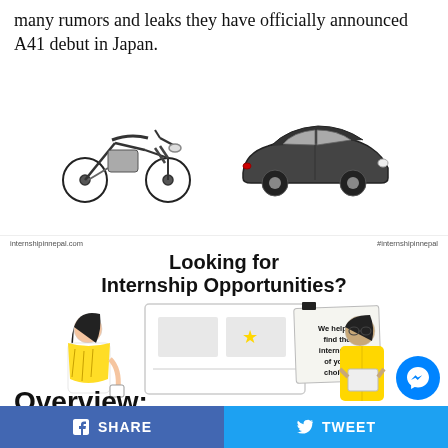many rumors and leaks they have officially announced A41 debut in Japan.
[Figure (illustration): Two vehicles side by side: a dirt/off-road motorcycle on the left and a dark sedan car on the right, both shown in grayscale profile view.]
[Figure (infographic): Internship opportunities banner from internshipinnepal.com showing two illustrated people (one with yellow scarf holding a cup, one with glasses and yellow shirt) at a presentation screen with a yellow star. A sticky note reads 'We help to find the internship of your choice.' Header text: 'Looking for Internship Opportunities?']
Overview:
SHARE   TWEET